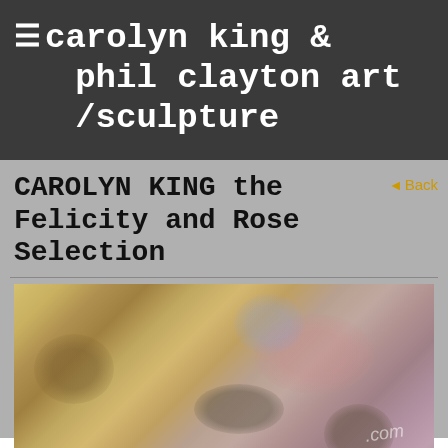≡carolyn king & phil clayton art /sculpture
CAROLYN KING the Felicity and Rose Selection
◄ Back
[Figure (photo): Partial view of a painting showing impressionistic brushwork in warm yellows, pinks, mauves and earth tones, with a watermark text '.com' visible in the lower right area. Two dark painted objects (possibly shoes or small figures) are visible at the bottom center-right.]